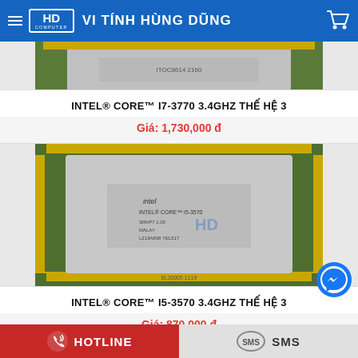VI TÍNH HÙNG DŨNG
[Figure (photo): Partial top view of Intel CPU chip (cut off at top)]
INTEL® CORE™ I7-3770 3.4GHZ THẾ HỆ 3
Giá: 1,730,000 đ
[Figure (photo): Intel Core i5-3570 CPU chip with HD Computer watermark overlay]
INTEL® CORE™ I5-3570 3.4GHZ THẾ HỆ 3
Giá: 870,000 đ
[Figure (photo): Partial bottom view of another Intel CPU chip (cut off at bottom)]
HOTLINE   SMS